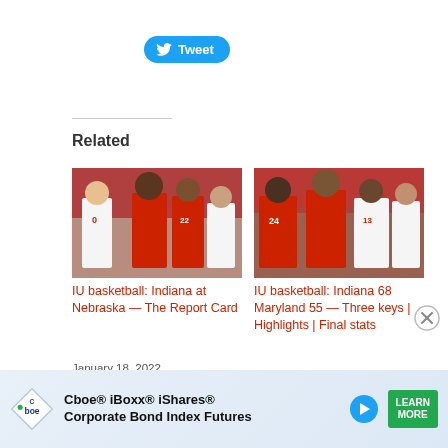[Figure (other): Twitter Tweet button with bird icon]
Related
[Figure (photo): Indiana basketball players in red and white uniforms during a game at Nebraska]
IU basketball: Indiana at Nebraska — The Report Card
January 18, 2022
[Figure (photo): Indiana basketball players including #24 in red and white uniforms during game vs Maryland]
IU basketball: Indiana 68 Maryland 55 — Three keys | Highlights | Final stats
January 29, 2022
[Figure (photo): Partial basketball photo, third related article card]
[Figure (other): Cboe iBoxx iShares Corporate Bond Index Futures advertisement banner with Learn More button]